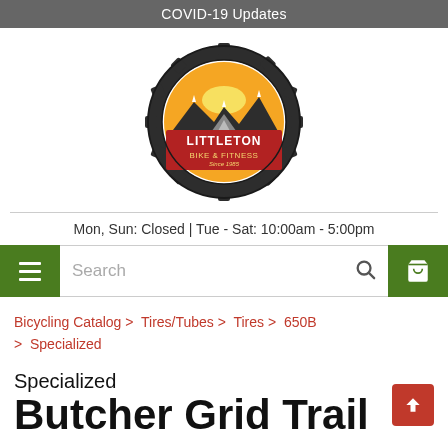COVID-19 Updates
[Figure (logo): Littleton Bike & Fitness logo — circular gear shape with mountain/sunset graphic, red banner reading LITTLETON BIKE & FITNESS, Since 1985]
Mon, Sun: Closed | Tue - Sat: 10:00am - 5:00pm
Search (navigation bar with hamburger menu and cart icon)
Bicycling Catalog > Tires/Tubes > Tires > 650B > Specialized
Specialized Butcher Grid Trail